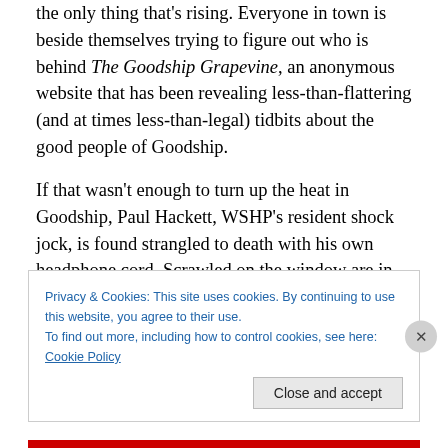the only thing that's rising. Everyone in town is beside themselves trying to figure out who is behind The Goodship Grapevine, an anonymous website that has been revealing less-than-flattering (and at times less-than-legal) tidbits about the good people of Goodship.
If that wasn't enough to turn up the heat in Goodship, Paul Hackett, WSHP's resident shock jock, is found strangled to death with his own headphone cord. Scrawled on the window are in red lipstick are the letters, "V.O.S." And what about "The Quiet," a cult that's been peppering the town
Privacy & Cookies: This site uses cookies. By continuing to use this website, you agree to their use.
To find out more, including how to control cookies, see here: Cookie Policy